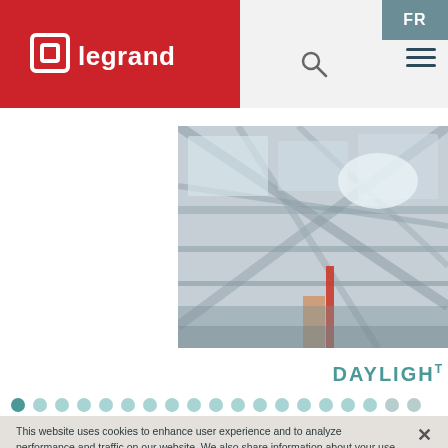[Figure (logo): Legrand logo — white text on red background with square icon]
[Figure (photo): Industrial ceiling with structural steel beams and skylights]
DAYLIGHT
[Figure (infographic): Row of circular pagination dots, first dot darker (active)]
This website uses cookies to enhance user experience and to analyze performance and traffic on our website. We also share information about your use of our site with our social media, advertising and analytics partners.
Do Not Sell My Personal Information
ACCEPT COOKIES